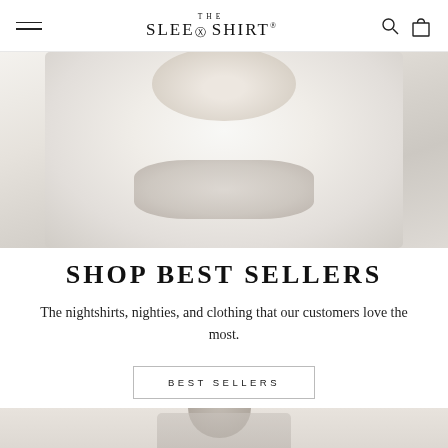THE SLEEP SHIRT®
[Figure (photo): Woman wearing a white oversized nightshirt, seated, holding a wooden chair back, photographed in a light neutral setting]
SHOP BEST SELLERS
The nightshirts, nighties, and clothing that our customers love the most.
BEST SELLERS
[Figure (photo): Woman with dark hair wearing clothing, partially visible at bottom of page against a light beige background]